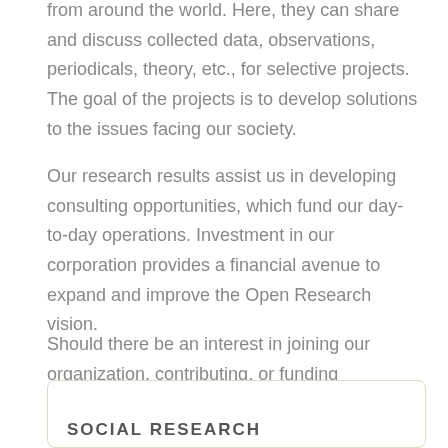from around the world. Here, they can share and discuss collected data, observations, periodicals, theory, etc., for selective projects. The goal of the projects is to develop solutions to the issues facing our society.
Our research results assist us in developing consulting opportunities, which fund our day-to-day operations. Investment in our corporation provides a financial avenue to expand and improve the Open Research vision.
Should there be an interest in joining our organization, contributing, or funding opportunities, please Contact Us
SOCIAL RESEARCH